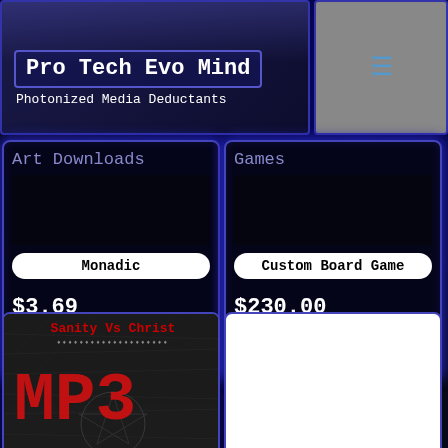Pro Tech Evo Mind
Photonized Media Deductants
Art Downloads
Monadic
$3.69
Add to cart
Games
Custom Board Game
$230.00
Add to cart
[Figure (illustration): Album cover for Sanity Vs Christ MP3 with red text, pentagram imagery and subtitle text: Science Truth, Multi-Verse Presents Lifestyles Replicated, Paranormal Omni-Matrix]
[Figure (other): White blank card/placeholder]